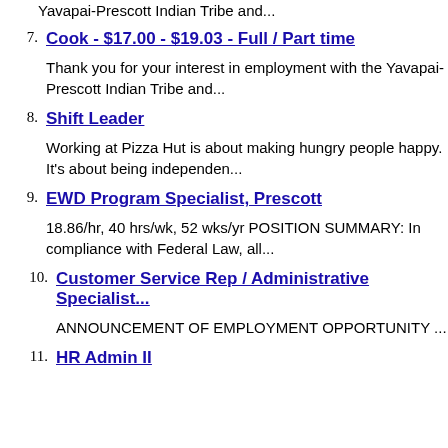Yavapai-Prescott Indian Tribe and...
7. Cook - $17.00 - $19.03 - Full / Part time
Thank you for your interest in employment with the Yavapai-Prescott Indian Tribe and...
8. Shift Leader
Working at Pizza Hut is about making hungry people happy. It's about being independen...
9. EWD Program Specialist, Prescott
18.86/hr, 40 hrs/wk, 52 wks/yr POSITION SUMMARY: In compliance with Federal Law, all...
10. Customer Service Rep / Administrative Specialist...
ANNOUNCEMENT OF EMPLOYMENT OPPORTUNITY ...
11. HR Admin II